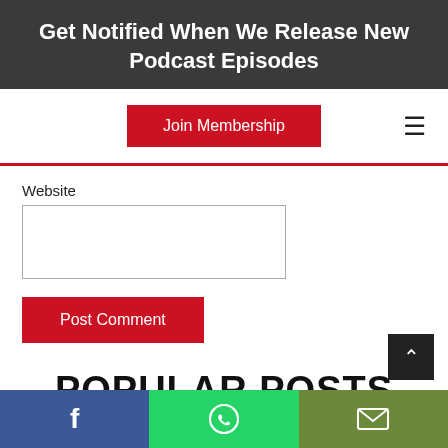Get Notified When We Release New Podcast Episodes
Join Membership
Website
Post Comment
POPULAR POSTS